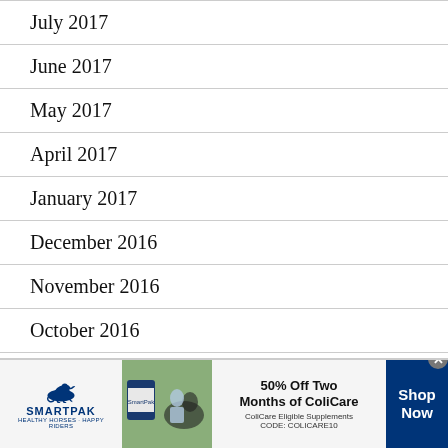July 2017
June 2017
May 2017
April 2017
January 2017
December 2016
November 2016
October 2016
September 2016
[Figure (screenshot): SmartPak advertisement banner: 50% Off Two Months of ColiCare, ColiCare Eligible Supplements, CODE: COLICARE10, Shop Now button]